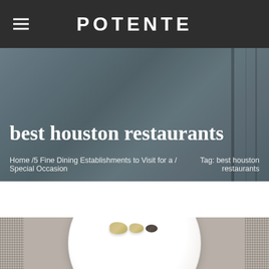POTENTE
best houston restaurants
Home /5 Fine Dining Establishments to Visit for a / Special Occasion   Tag: best houston restaurants
[Figure (photo): Fine dining plate with scallops and truffle slices on a white plate, on a textured woven placemat background]